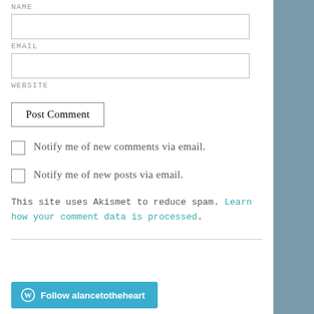NAME
EMAIL
WEBSITE
Post Comment
Notify me of new comments via email.
Notify me of new posts via email.
This site uses Akismet to reduce spam. Learn how your comment data is processed.
Follow alancetotheheart